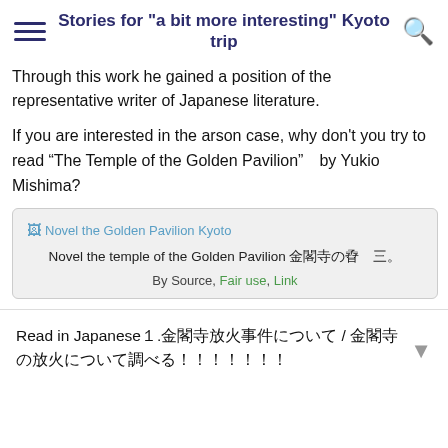Stories for "a bit more interesting" Kyoto trip
Through this work he gained a position of the representative writer of Japanese literature.
If you are interested in the arson case, why don't you try to read “The Temple of the Golden Pavilion”　by Yukio Mishima?
[Figure (photo): Book cover image for Novel the Golden Pavilion Kyoto with broken image placeholder]
Novel the temple of the Golden Pavilion 金閣寺の孴 三。
By Source, Fair use, Link
Read in Japanese１.金閣寺放火事件について / 金閣寺の放火について調べる